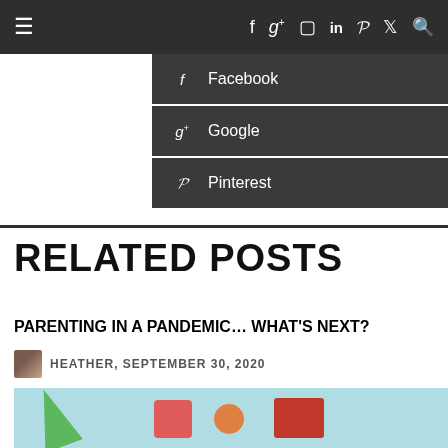≡  f  g+  ☐  in  ℗  𝕿  🔍
f  Facebook
g+  Google
℗  Pinterest
RELATED POSTS
PARENTING IN A PANDEMIC… WHAT'S NEXT?
HEATHER, SEPTEMBER 30, 2020
[Figure (photo): Blog post thumbnail image with light blue background and colorful objects including vegetables or toys]